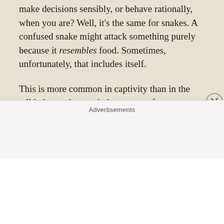make decisions sensibly, or behave rationally, when you are? Well, it's the same for snakes. A confused snake might attack something purely because it resembles food. Sometimes, unfortunately, that includes itself.
This is more common in captivity than in the wild, due to the restrictive nature of an enclosure, and the lack of hunting opportunities. Snakes are natural predators—take away the prey element, and they can feel a bit lost.
Similarly, a desperate snake might eat itself for the perceived nourishment it would gain. It is a survival mechanism.
In captivity, this is most likely a result of under-feeding, or
Advertisements